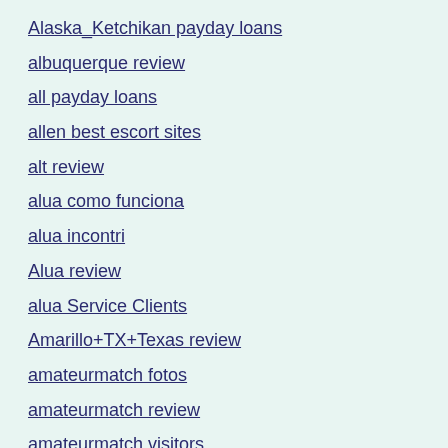Alaska_Ketchikan payday loans
albuquerque review
all payday loans
allen best escort sites
alt review
alua como funciona
alua incontri
Alua review
alua Service Clients
Amarillo+TX+Texas review
amateurmatch fotos
amateurmatch review
amateurmatch visitors